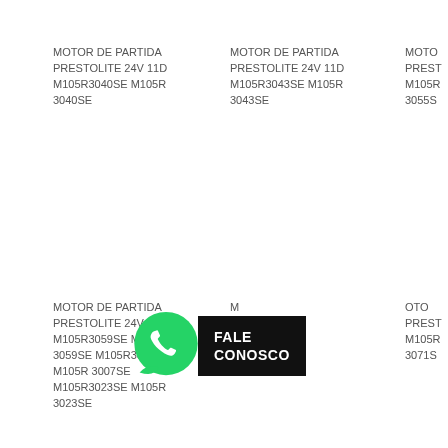MOTOR DE PARTIDA PRESTOLITE 24V 11D M105R3040SE M105R 3040SE
MOTOR DE PARTIDA PRESTOLITE 24V 11D M105R3043SE M105R 3043SE
MOTOR DE PARTIDA PRESTOLITE 24V 11D M105R... 3055S...
MOTOR DE PARTIDA PRESTOLITE 24V 11D M105R3059SE M105R 3059SE M105R3007SE M105R 3007SE M105R3023SE M105R 3023SE
MOTOR DE PARTIDA PRESTOLITE 24V 11D M105R... 3...
MOTOR DE PARTIDA PRESTOLITE 24V 11D M105R... 3071S...
[Figure (infographic): WhatsApp logo (green speech bubble with phone icon) beside a black banner reading FALE CONOSCO]